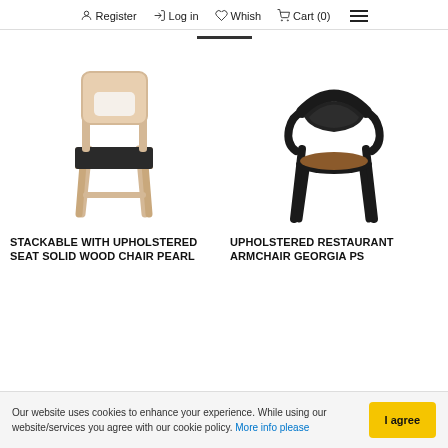Register | Log in | Whish | Cart (0) | Menu
[Figure (photo): Light wood stackable chair with black upholstered seat]
STACKABLE WITH UPHOLSTERED SEAT SOLID WOOD CHAIR PEARL
[Figure (photo): Dark/black armchair with round brown upholstered seat — Georgia PS]
UPHOLSTERED RESTAURANT ARMCHAIR GEORGIA PS
Our website uses cookies to enhance your experience. While using our website/services you agree with our cookie policy. More info please | I agree